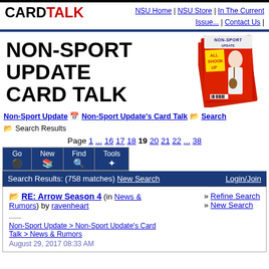CARD TALK | NSU Home | NSU Store | In The Current Issue... | Contact Us |
[Figure (screenshot): NON-SPORT UPDATE magazine cover featuring Elvis Presley with guitar, with text 'ALL SHOOK UP']
NON-SPORT UPDATE CARD TALK
Non-Sport Update > Non-Sport Update's Card Talk > Search > Search Results
Page 1 ... 16 17 18 19 20 21 22 ... 38
Go | New | Find | Tools
Search Results: (758 matches) New Search | Login/Join
RE: Arrow Season 4 (in News & Rumors) by ravenheart
......
Non-Sport Update > Non-Sport Update's Card Talk > News & Rumors
August 29, 2017 08:33 AM
» Refine Search
» New Search